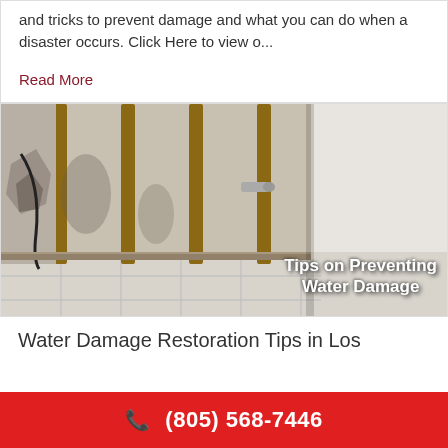and tricks to prevent damage and what you can do when a disaster occurs. Click Here to view o...
Read More
[Figure (photo): Water-damaged room showing exposed wall studs, stripped drywall, moisture stains, and tile floor. Overlay text reads 'Tips on Preventing Water Damage']
Water Damage Restoration Tips in Los
(805) 568-7446